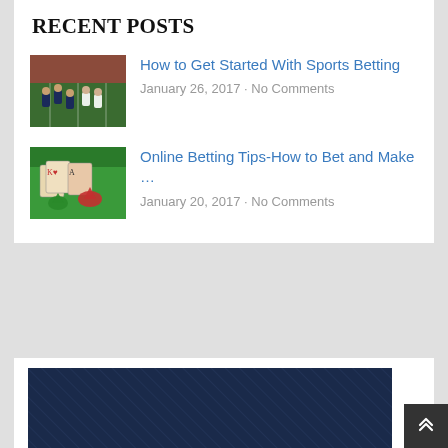RECENT POSTS
How to Get Started With Sports Betting
January 26, 2017 · No Comments
Online Betting Tips-How to Bet and Make …
January 20, 2017 · No Comments
[Figure (photo): Dark navy blue panel with diagonal line texture pattern]